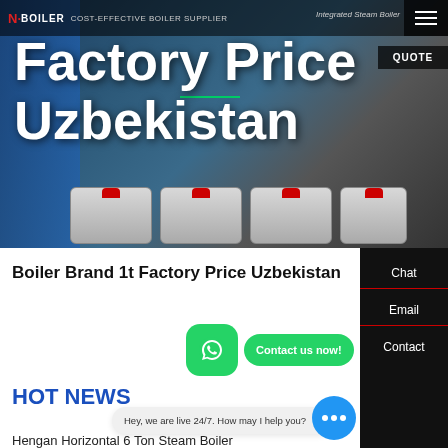[Figure (screenshot): Hero banner image of industrial boilers in a factory setting with blue structural elements. Dark overlay background.]
COST-EFFECTIVE BOILER SUPPLIER | Integrated Steam Boiler
Factory Price Uzbekistan
QUOTE
Boiler Brand 1t Factory Price Uzbekistan
Contact us now!
HOT NEWS
Hey, we are live 24/7. How may I help you?
Hengan Horizontal 6 Ton Steam Boiler
Chat
Email
Contact